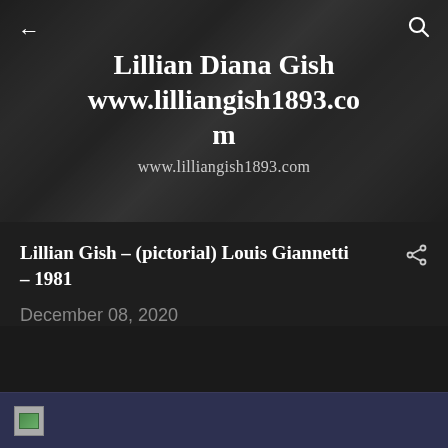[Figure (screenshot): Website header banner for lilliangish1893.com showing a grayscale photographic background with the site title 'Lillian Diana Gish' and URL 'www.lilliangish1893.com' overlaid in white serif text. Back arrow on top left and search icon on top right.]
Lillian Gish – (pictorial) Louis Giannetti – 1981
December 08, 2020
[Figure (screenshot): Bottom partial image preview area with a blue-gray background and a small image thumbnail in the bottom left corner.]